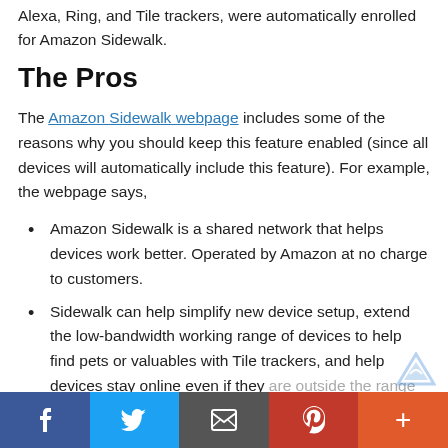Alexa, Ring, and Tile trackers, were automatically enrolled for Amazon Sidewalk.
The Pros
The Amazon Sidewalk webpage includes some of the reasons why you should keep this feature enabled (since all devices will automatically include this feature). For example, the webpage says,
Amazon Sidewalk is a shared network that helps devices work better. Operated by Amazon at no charge to customers.
Sidewalk can help simplify new device setup, extend the low-bandwidth working range of devices to help find pets or valuables with Tile trackers, and help devices stay online even if they are outside the range of their home wifi.
In the future, Sidewalk will support a range of
f  (Twitter icon)  (Email icon)  p  +